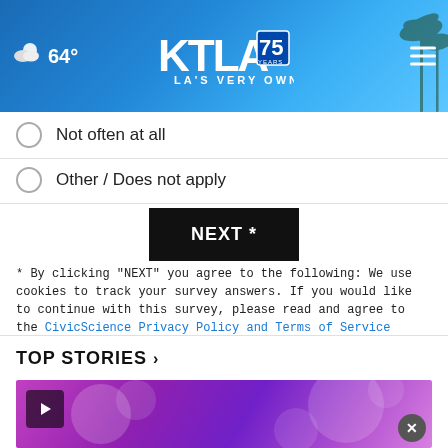[Figure (screenshot): KTLA 75 Years LA's Very Own website header with weather showing 64°, KTLA logo, palm trees background, and hamburger menu]
Not often at all
Other / Does not apply
NEXT *
* By clicking "NEXT" you agree to the following: We use cookies to track your survey answers. If you would like to continue with this survey, please read and agree to the CivicScience Privacy Policy and Terms of Service
TOP STORIES ›
[Figure (screenshot): Video thumbnail with purple bokeh lights background and play button, close (X) button overlay]
[Figure (screenshot): Ad banner: BELONGING BEGINS WITH US, Ad Council logo]